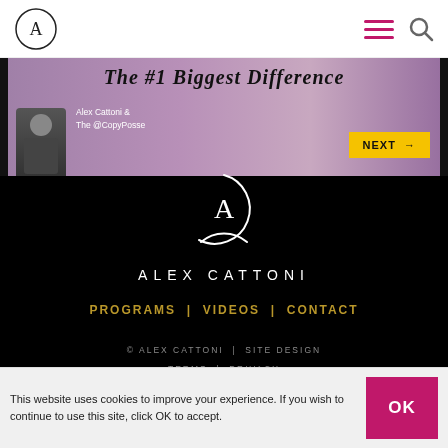Alex Cattoni logo and navigation header
[Figure (screenshot): Banner image showing The #1 Biggest Difference with Alex Cattoni and The @CopyPosse, with a yellow NEXT button]
[Figure (logo): Alex Cattoni circular logo mark (white A in circle) on black background]
ALEX CATTONI
PROGRAMS  |  VIDEOS  |  CONTACT
© ALEX CATTONI  |  SITE DESIGN
TERMS  |  PRIVACY
This website uses cookies to improve your experience. If you wish to continue to use this site, click OK to accept.